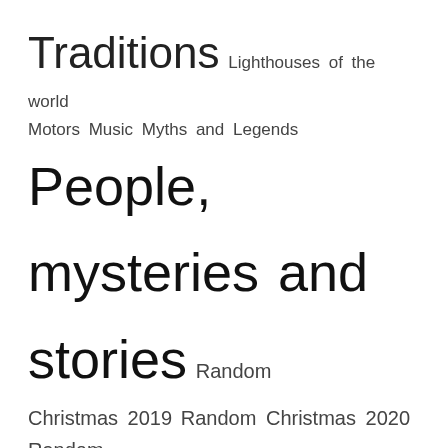Traditions Lighthouses of the world Motors Music Myths and Legends People, mysteries and stories Random Christmas 2019 Random Christmas 2020 Random Christmas 2021 Sport Today In History 📅 Travel Weather
REKLAMA